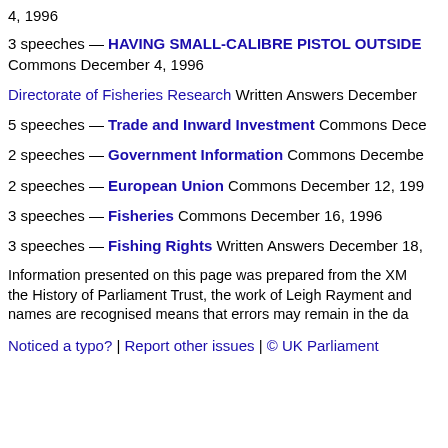4, 1996
3 speeches — HAVING SMALL-CALIBRE PISTOL OUTSIDE Commons December 4, 1996
Directorate of Fisheries Research Written Answers December
5 speeches — Trade and Inward Investment Commons Dece
2 speeches — Government Information Commons Decembe
2 speeches — European Union Commons December 12, 199
3 speeches — Fisheries Commons December 16, 1996
3 speeches — Fishing Rights Written Answers December 18,
Information presented on this page was prepared from the XM the History of Parliament Trust, the work of Leigh Rayment and names are recognised means that errors may remain in the da
Noticed a typo? | Report other issues | © UK Parliament